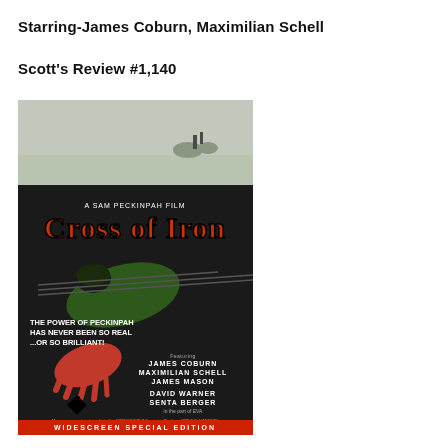Starring-James Coburn, Maximilian Schell
Scott's Review #1,140
[Figure (photo): Movie poster for 'Cross of Iron', a Sam Peckinpah film. Shows a soldier lying face down in snow/mud with outstretched bloody hand reaching toward a German Iron Cross medal. Title 'Cross of Iron' in large orange decorative font. Starring James Coburn, Maximilian Schell, James Mason, David Warner, Senta Berger. Tagline: 'The power of Peckinpah has never been so real...or so brilliant!' Bottom reads 'WIDESCREEN SPECIAL EDITION'.]